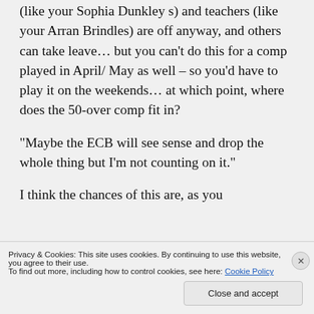(like your Sophia Dunkley s) and teachers (like your Arran Brindles) are off anyway, and others can take leave… but you can't do this for a comp played in April/ May as well – so you'd have to play it on the weekends… at which point, where does the 50-over comp fit in?
“Maybe the ECB will see sense and drop the whole thing but I’m not counting on it.”
I think the chances of this are, as you
Privacy & Cookies: This site uses cookies. By continuing to use this website, you agree to their use.
To find out more, including how to control cookies, see here: Cookie Policy